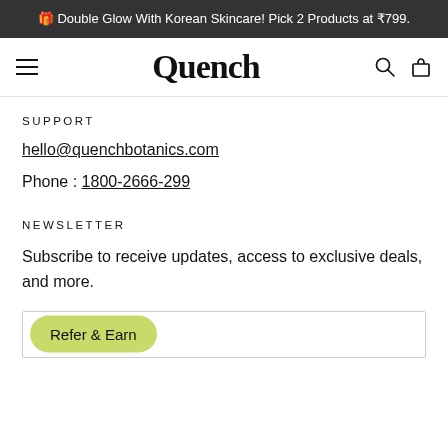🎁 Double Glow With Korean Skincare! Pick 2 Products at ₹799.
[Figure (logo): Quench logo with hamburger menu icon on left and search/bag icons on right]
SUPPORT
hello@quenchbotanics.com
Phone : 1800-2666-299
NEWSLETTER
Subscribe to receive updates, access to exclusive deals, and more.
Enter your email address
Refer & Earn